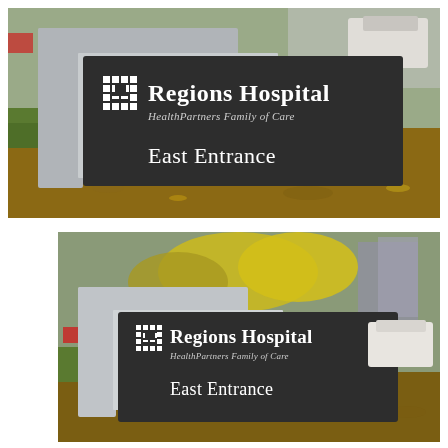[Figure (photo): Outdoor photograph of a Regions Hospital East Entrance sign mounted on a gray concrete post structure, with a dark charcoal-colored sign panel displaying the HealthPartners snowflake logo, 'Regions Hospital', 'HealthPartners Family of Care', and 'East Entrance'. Background shows parking lot, grass, and wood chip landscaping.]
[Figure (photo): Second outdoor photograph of the same Regions Hospital East Entrance sign from a slightly different angle and distance, showing more of the surrounding environment including trees with fall foliage, parking lot, and landscaping.]